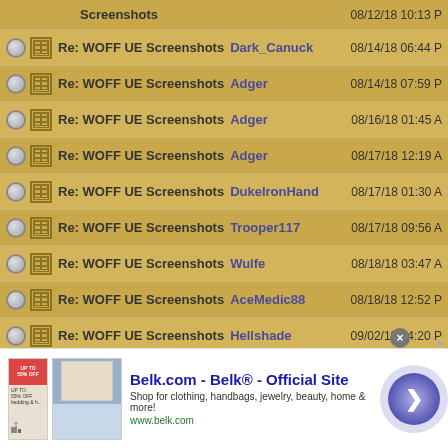|  |  | Subject | Author | Date |
| --- | --- | --- | --- | --- |
|  |  | Screenshots |  | 08/12/18 10:13 P |
| o | img | Re: WOFF UE Screenshots | Dark_Canuck | 08/14/18 06:44 P |
| o | img | Re: WOFF UE Screenshots | Adger | 08/14/18 07:59 P |
| o | img | Re: WOFF UE Screenshots | Adger | 08/16/18 01:45 A |
| o | img | Re: WOFF UE Screenshots | Adger | 08/17/18 12:19 A |
| o | img | Re: WOFF UE Screenshots | DukeIronHand | 08/17/18 01:30 A |
| o | img | Re: WOFF UE Screenshots | Trooper117 | 08/17/18 09:56 A |
| o | img | Re: WOFF UE Screenshots | Wulfe | 08/18/18 03:47 A |
| o | img | Re: WOFF UE Screenshots | AceMedic88 | 08/18/18 12:52 P |
| o | img | Re: WOFF UE Screenshots | Hellshade | 09/02/18 04:20 P |
| o | img | Re: WOFF UE Screenshots | lederhosen | 09/02/18 05:43 P |
| o | img | Re: WOFF UE Screenshots | Nowi | 09/02/18 09:15 P |
| o | img | Re: WOFF UE Screenshots | Hellshade | 09/02/18 06: P |
[Figure (screenshot): Advertisement banner for Belk.com showing clothing/home goods store promotion with navigation arrow]